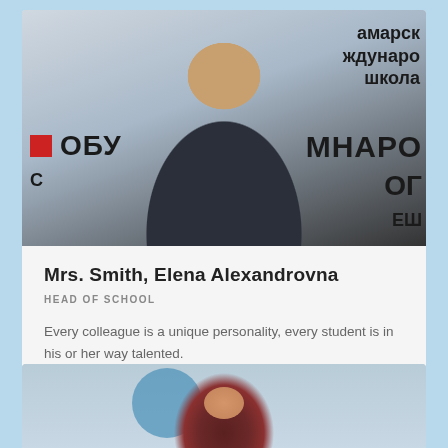[Figure (photo): Photo of Mrs. Smith, Elena Alexandrovna, a woman with short brown hair wearing a black top, smiling, with Russian text/banner visible in the background (амарск, ждунаро, школа, ОБУ, МНАРО, OG)]
Mrs. Smith, Elena Alexandrovna
HEAD OF SCHOOL
Every colleague is a unique personality, every student is in his or her way talented.
[Figure (photo): Partial photo of a second person with curly dark red/brown hair, with blue circular shapes visible in the background]